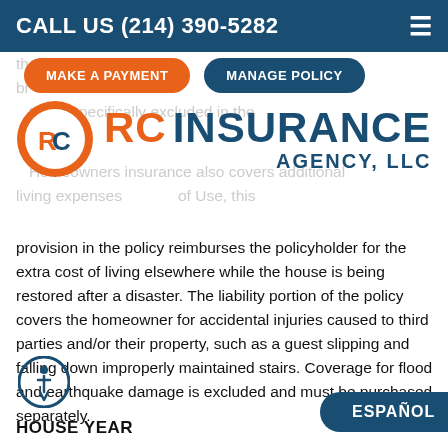CALL US (214) 390-5282
MAKE A PAYMENT   MANAGE POLICY
[Figure (logo): RC Insurance Agency LLC logo with orange and blue circle RC icon and text]
ESPAÑOL
provision in the policy reimburses the policyholder for the extra cost of living elsewhere while the house is being restored after a disaster. The liability portion of the policy covers the homeowner for accidental injuries caused to third parties and/or their property, such as a guest slipping and falling down improperly maintained stairs. Coverage for flood and earthquake damage is excluded and must be purchased separately.
HOUSE YEAR